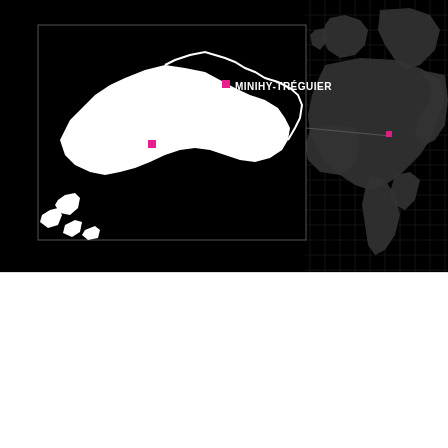[Figure (map): Interactive map showing location of Minihy-Tréguier and Plouzévédé on a regional white-on-black map of Brittany, with a Europe overview grid map on the right side. Pink/red squares mark the two locations. A line connects the regional inset to the Europe map.]
Ce site Web utilise des cookies pour améliorer votre expérience. Nous supposerons que cela vous convient, mais vous pouvez vous désinscrire si vous le souhaitez.
Cookie settings
ACCEPT